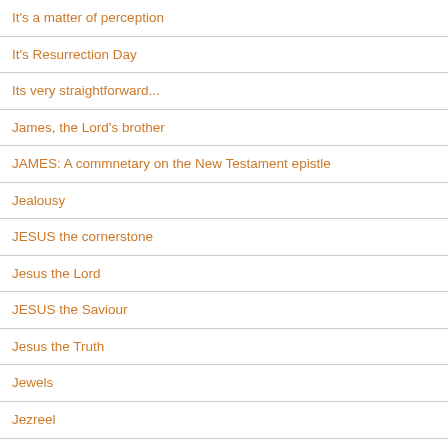It's a matter of perception
It's Resurrection Day
Its very straightforward...
James, the Lord's brother
JAMES: A commnetary on the New Testament epistle
Jealousy
JESUS the cornerstone
Jesus the Lord
JESUS the Saviour
Jesus the Truth
Jewels
Jezreel
Job 25: God over all...